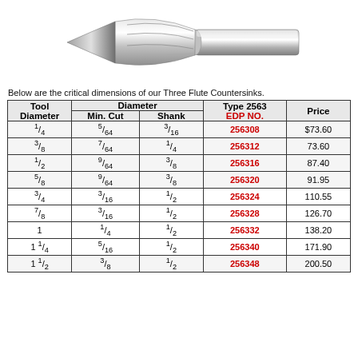[Figure (photo): Photograph of a three-flute countersink cutting tool shown at an angle, metallic silver finish.]
Below are the critical dimensions of our Three Flute Countersinks.
| Tool Diameter | Diameter Min. Cut | Diameter Shank | Type 2563 EDP NO. | Price |
| --- | --- | --- | --- | --- |
| 1/4 | 5/64 | 3/16 | 256308 | $73.60 |
| 3/8 | 7/64 | 1/4 | 256312 | 73.60 |
| 1/2 | 9/64 | 3/8 | 256316 | 87.40 |
| 5/8 | 9/64 | 3/8 | 256320 | 91.95 |
| 3/4 | 3/16 | 1/2 | 256324 | 110.55 |
| 7/8 | 3/16 | 1/2 | 256328 | 126.70 |
| 1 | 1/4 | 1/2 | 256332 | 138.20 |
| 1 1/4 | 5/16 | 1/2 | 256340 | 171.90 |
| 1 1/2 | 3/8 | 1/2 | 256348 | 200.50 |